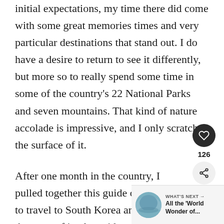initial expectations, my time there did come with some great memories times and very particular destinations that stand out. I do have a desire to return to see it differently, but more so to really spend some time in some of the country's 22 National Parks and seven mountains. That kind of nature accolade is impressive, and I only scratched the surface of it.
After one month in the country, I pulled together this guide on how to travel to South Korea and make the most of it, alongside my top picks on where to visit for your first time there.
[Figure (other): Heart/like button widget showing 126 likes, and a share button below]
[Figure (other): What's Next widget with thumbnail image and text 'All the World Wonder of...']